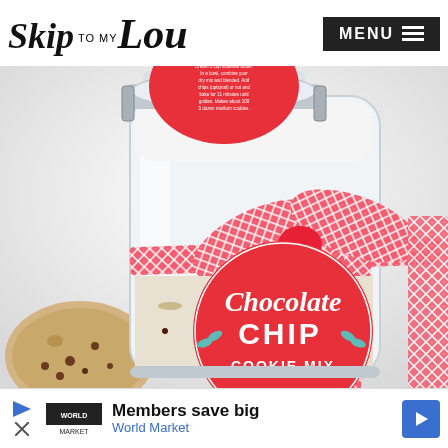Skip to my Lou — MENU
[Figure (photo): A glass mason jar with a red herringbone ribbon bow tied around it. The jar has a red circular label reading 'Chocolate Chip COOKIE MIX' with teal leaf accents. The lid has another red circular label with recipe instructions. A chocolate chip cookie is visible in the lower left foreground. The background is white.]
Members save big
World Market